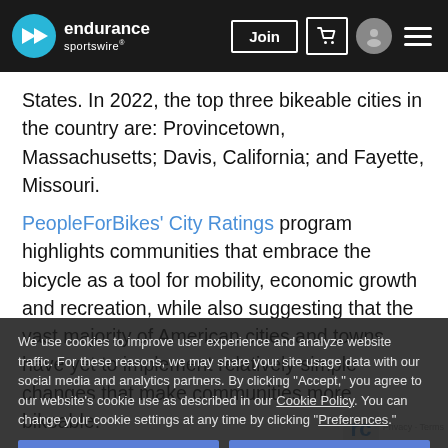endurance sportswire — Join [cart] [avatar] [menu]
States. In 2022, the top three bikeable cities in the country are: Provincetown, Massachusetts; Davis, California; and Fayette, Missouri.
PeopleForBikes' City Ratings program highlights communities that embrace the bicycle as a tool for mobility, economic growth and recreation, while also suggesting that the vast majority of American cities and towns have yet to implement relatively simple changes that make communities more bikeable.
These results are the culmination of extensive research and data collection, including factors such as cities' speed limits, existing infrastructure and overall safety, as well as community input on what people think about biking in their city. Cities are
We use cookies to improve user experience and analyze website traffic. For these reasons, we may share your site usage data with our social media and analytics partners. By clicking "Accept," you agree to our website's cookie use as described in our Cookie Policy. You can change your cookie settings at any time by clicking "Preferences."
Decline | Accept | Preferences